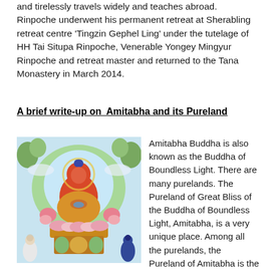and tirelessly travels widely and teaches abroad. Rinpoche underwent his permanent retreat at Sherabling retreat centre 'Tingzin Gephel Ling' under the tutelage of HH Tai Situpa Rinpoche, Venerable Yongey Mingyur Rinpoche and retreat master and returned to the Tana Monastery in March 2014.
A brief write-up on Amitabha and its Pureland
[Figure (illustration): Thangka painting of Amitabha Buddha seated in meditation posture on a lotus throne, depicted in red/orange color with a circular halo, surrounded by attendants and flowers, against a light blue and green background.]
Amitabha Buddha is also known as the Buddha of Boundless Light. There are many purelands. The Pureland of Great Bliss of the Buddha of Boundless Light, Amitabha, is a very unique place. Among all the purelands, the Pureland of Amitabha is the easiest to